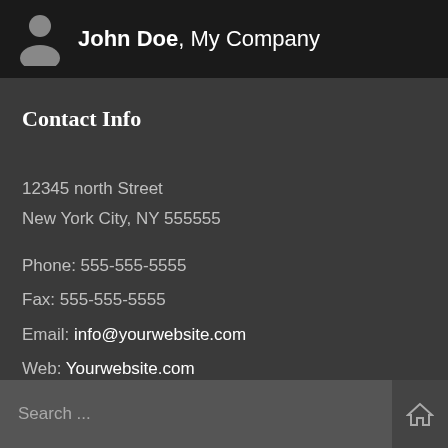John Doe, My Company
Contact Info
12345 north Street
New York City, NY 555555
Phone: 555-555-5555
Fax: 555-555-5555
Email: info@yourwebsite.com
Web: Yourwebsite.com
Search ...